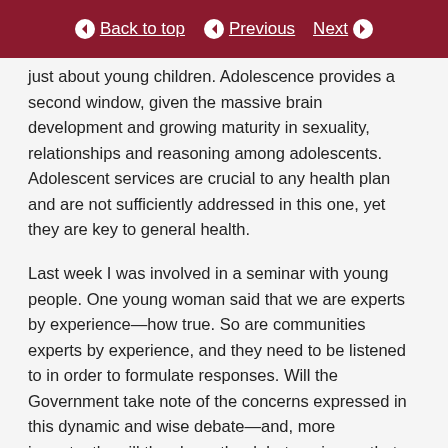Back to top | Previous | Next
just about young children. Adolescence provides a second window, given the massive brain development and growing maturity in sexuality, relationships and reasoning among adolescents. Adolescent services are crucial to any health plan and are not sufficiently addressed in this one, yet they are key to general health.
Last week I was involved in a seminar with young people. One young woman said that we are experts by experience—how true. So are communities experts by experience, and they need to be listened to in order to formulate responses. Will the Government take note of the concerns expressed in this dynamic and wise debate—and, more importantly, will they keep the debate going so that